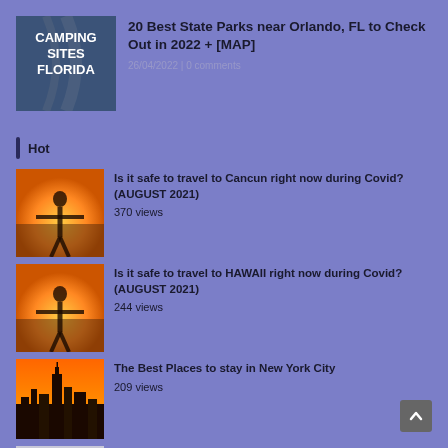[Figure (photo): Camping Sites Florida book/image thumbnail with aerial road view]
20 Best State Parks near Orlando, FL to Check Out in 2022 + [MAP]
26/04/2022 | 0 comments
Hot
[Figure (photo): Person with arms outstretched at sunset - Cancun travel article thumbnail]
Is it safe to travel to Cancun right now during Covid? (AUGUST 2021)
370 views
[Figure (photo): Person with arms outstretched at sunset - Hawaii travel article thumbnail]
Is it safe to travel to HAWAII right now during Covid? (AUGUST 2021)
244 views
[Figure (photo): New York City skyline at sunset with Empire State Building]
The Best Places to stay in New York City
209 views
[Figure (photo): South Korea article thumbnail - partial view]
South Korea Is Open For Tourism And Lifting Some